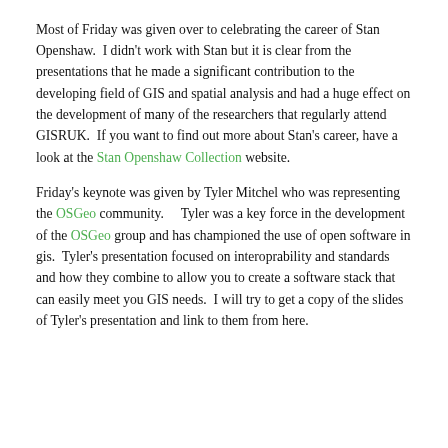created for you. All good stuff, if you want to find out more about this then have a look at the ArcGIS.com website.
Most of Friday was given over to celebrating the career of Stan Openshaw.  I didn't work with Stan but it is clear from the presentations that he made a significant contribution to the developing field of GIS and spatial analysis and had a huge effect on the development of many of the researchers that regularly attend GISRUK.  If you want to find out more about Stan's career, have a look at the Stan Openshaw Collection website.
Friday's keynote was given by Tyler Mitchel who was representing the OSGeo community.    Tyler was a key force in the development of the OSGeo group and has championed the use of open software in gis.  Tyler's presentation focused on interoprability and standards and how they combine to allow you to create a software stack that can easily meet you GIS needs.  I will try to get a copy of the slides of Tyler's presentation and link to them from here.